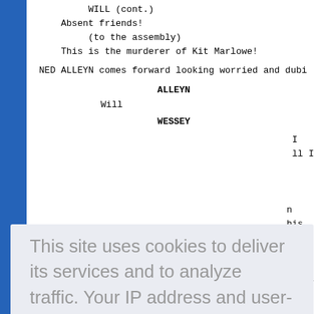WILL (cont.)
Absent friends!
    (to the assembly)
This is the murderer of Kit Marlowe!
NED ALLEYN comes forward looking worried and dubi
ALLEYN
Will
WESSEY
I
ll I
n
his
about
dis reli
(to the heavens)
Oh God. I am free of it!
This site uses cookies to deliver its services and to analyze traffic. Your IP address and user-agent are shared with this website along with performance and security metrics to ensure quality of service, generate usage statistics, and to detect and address abuse.
Learn more
Got it!